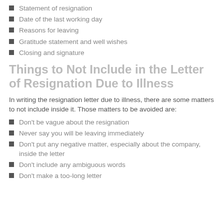Statement of resignation
Date of the last working day
Reasons for leaving
Gratitude statement and well wishes
Closing and signature
Things to Not Include in the Letter of Resignation Due to Illness
In writing the resignation letter due to illness, there are some matters to not include inside it. Those matters to be avoided are:
Don't be vague about the resignation
Never say you will be leaving immediately
Don't put any negative matter, especially about the company, inside the letter
Don't include any ambiguous words
Don't make a too-long letter